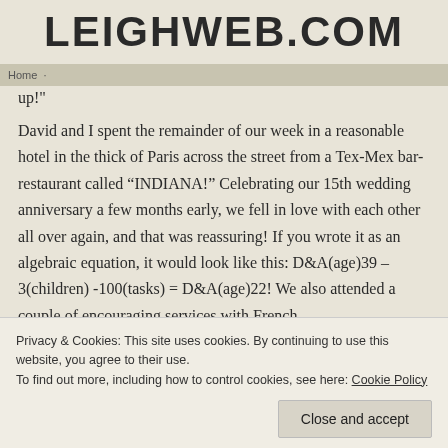LEIGHWEB.COM
up!"
David and I spent the remainder of our week in a reasonable hotel in the thick of Paris across the street from a Tex-Mex bar-restaurant called “INDIANA!” Celebrating our 15th wedding anniversary a few months early, we fell in love with each other all over again, and that was reassuring! If you wrote it as an algebraic equation, it would look like this: D&A(age)39 – 3(children) -100(tasks) = D&A(age)22! We also attended a couple of encouraging services with French
Privacy & Cookies: This site uses cookies. By continuing to use this website, you agree to their use.
To find out more, including how to control cookies, see here: Cookie Policy
Close and accept